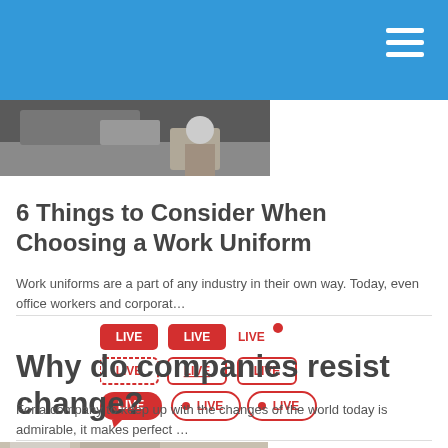[Figure (photo): Blue navigation header bar with hamburger menu icon (three white horizontal lines) on the right]
[Figure (photo): Thumbnail image showing a person in a white cap near a vehicle, partially visible at top of page]
6 Things to Consider When Choosing a Work Uniform
Work uniforms are a part of any industry in their own way. Today, even office workers and corporat...
[Figure (illustration): Collection of LIVE badge icon variations in red on white background, showing 9 different styles]
Why do companies resist change?
For a company to keep up with the changes of the world today is admirable, it makes perfect ...
[Figure (photo): Partial thumbnail image visible at bottom of page]